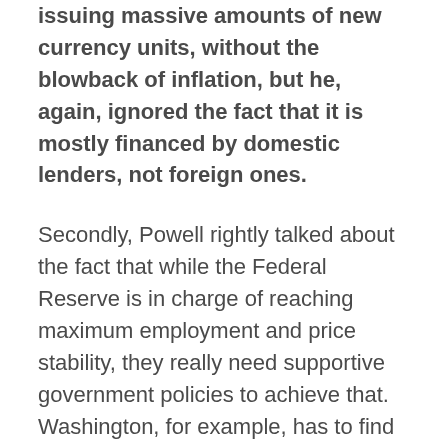issuing massive amounts of new currency units, without the blowback of inflation, but he, again, ignored the fact that it is mostly financed by domestic lenders, not foreign ones.
Secondly, Powell rightly talked about the fact that while the Federal Reserve is in charge of reaching maximum employment and price stability, they really need supportive government policies to achieve that. Washington, for example, has to find ways to incentivize corporations to train employees, who are on the sidelines, find daycare solutions for single moms and